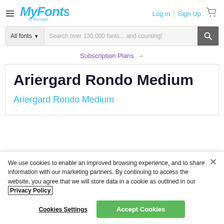[Figure (logo): MyFonts by Monotype logo in blue cursive script]
Log in | Sign Up
All fonts ▼  Search over 130,000 fonts... and counting!
Subscription Plans →
Ariergard Rondo Medium
Ariergard Rondo Medium
We use cookies to enable an improved browsing experience, and to share information with our marketing partners. By continuing to access the website, you agree that we will store data in a cookie as outlined in our Privacy Policy
Cookies Settings
Accept Cookies